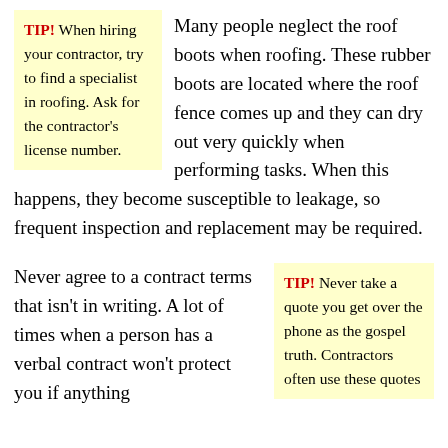TIP! When hiring your contractor, try to find a specialist in roofing. Ask for the contractor's license number.
Many people neglect the roof boots when roofing. These rubber boots are located where the roof fence comes up and they can dry out very quickly when performing tasks. When this happens, they become susceptible to leakage, so frequent inspection and replacement may be required.
Never agree to a contract terms that isn't in writing. A lot of times when a person has a verbal contract won't protect you if anything
TIP! Never take a quote you get over the phone as the gospel truth. Contractors often use these quotes